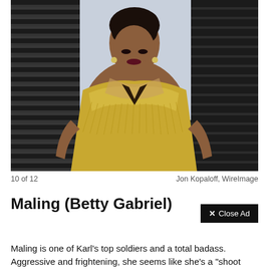[Figure (photo): Woman in a gold beaded/fringed gown at what appears to be a red carpet event, photographed in front of a background with diagonal slats]
10 of 12
Jon Kopaloff, WireImage
Maling (Betty Gabriel)
Maling is one of Karl's top soldiers and a total badass. Aggressive and frightening, she seems like she's a "shoot
Close Ad